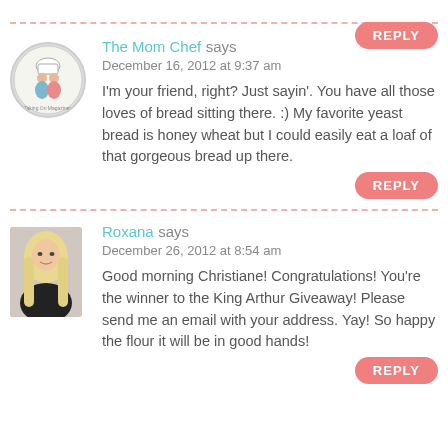REPLY (top button)
The Mom Chef says
December 16, 2012 at 9:37 am
I'm your friend, right? Just sayin'. You have all those loves of bread sitting there. :) My favorite yeast bread is honey wheat but I could easily eat a loaf of that gorgeous bread up there.
REPLY
Roxana says
December 26, 2012 at 8:54 am
Good morning Christiane! Congratulations! You're the winner to the King Arthur Giveaway! Please send me an email with your address. Yay! So happy the flour it will be in good hands!
REPLY